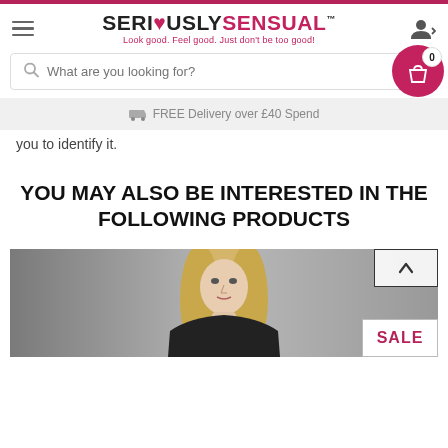SERIOUSLYSENSUAL™ — Look good. Feel good. Just don't be too good!
What are you looking for?
FREE Delivery over £40 Spend
you to identify it.
YOU MAY ALSO BE INTERESTED IN THE FOLLOWING PRODUCTS
[Figure (photo): Blonde woman product photo with SALE badge overlay in bottom right corner and scroll-up button in top right corner]